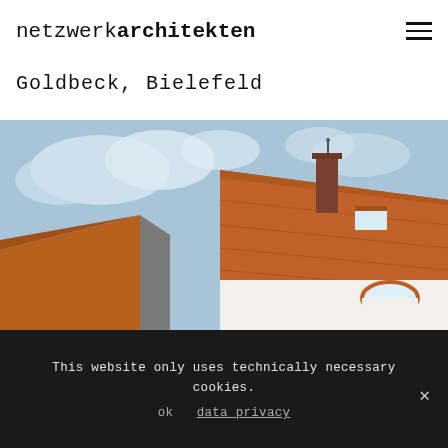netzwerkarchitekten
Goldbeck, Bielefeld
[Figure (photo): Photograph of a building with an orange/terracotta tiled roof, white exterior walls, a brick chimney, a round arched window with orange trim, and a partly cloudy sky in the background.]
This website only uses technically necessary cookies.
ok   data privacy